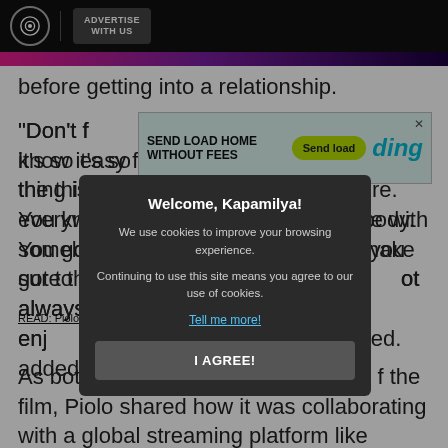ADVERTISE WITH US
[Figure (screenshot): Advertisement banner: SEND LOAD HOME WITHOUT FEES - Send load - ding]
before getting into a relationship.
“Don’t f[orget to love yourself] first. I know it’s so easy for us to fall in love but the thing is, nowadays it’s just everywhere. You know it’s so easy be with somebody. You got to treasure that. you got to make sure that yo[u’re not always right but enjoy] ot always right but enj[oy] nything,” he added.
READ: Piolo Pascual and Ale[x...]
[Figure (screenshot): Cookie consent modal: Welcome, Kapamilya! We use cookies to improve your browsing experience. Continuing to use this site means you agree to our use of cookies. Tell me more! I AGREE!]
As both lea[d actors] f the film, Piolo shared how it was collaborating with a global streaming platform like Netflix.